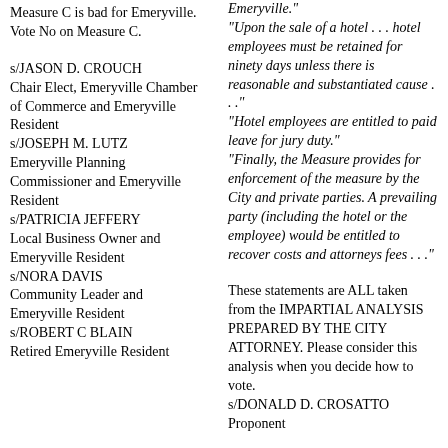Measure C is bad for Emeryville. Vote No on Measure C.
s/JASON D. CROUCH
Chair Elect, Emeryville Chamber of Commerce and Emeryville Resident
s/JOSEPH M. LUTZ
Emeryville Planning Commissioner and Emeryville Resident
s/PATRICIA JEFFERY
Local Business Owner and Emeryville Resident
s/NORA DAVIS
Community Leader and Emeryville Resident
s/ROBERT C BLAIN
Retired Emeryville Resident
Emeryville."
"Upon the sale of a hotel . . . hotel employees must be retained for ninety days unless there is reasonable and substantiated cause . . ."
"Hotel employees are entitled to paid leave for jury duty."
"Finally, the Measure provides for enforcement of the measure by the City and private parties. A prevailing party (including the hotel or the employee) would be entitled to recover costs and attorneys fees . . ."
These statements are ALL taken from the IMPARTIAL ANALYSIS PREPARED BY THE CITY ATTORNEY. Please consider this analysis when you decide how to vote.
s/DONALD D. CROSATTO
Proponent